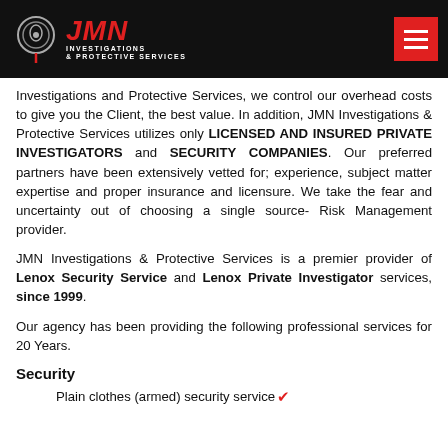[Figure (logo): JMN Investigations & Protective Services logo with red text and icon on black header bar, plus hamburger menu button]
Investigations and Protective Services, we control our overhead costs to give you the Client, the best value. In addition, JMN Investigations & Protective Services utilizes only LICENSED AND INSURED PRIVATE INVESTIGATORS and SECURITY COMPANIES. Our preferred partners have been extensively vetted for; experience, subject matter expertise and proper insurance and licensure. We take the fear and uncertainty out of choosing a single source- Risk Management provider.
JMN Investigations & Protective Services is a premier provider of Lenox Security Service and Lenox Private Investigator services, since 1999.
Our agency has been providing the following professional services for 20 Years.
Security
Plain clothes (armed) security service ✔